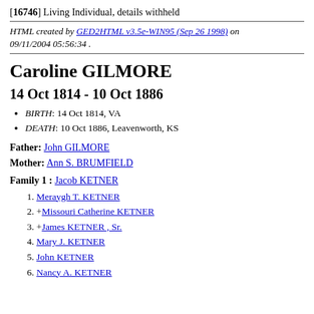[16746] Living Individual, details withheld
HTML created by GED2HTML v3.5e-WIN95 (Sep 26 1998) on 09/11/2004 05:56:34 .
Caroline GILMORE
14 Oct 1814 - 10 Oct 1886
BIRTH: 14 Oct 1814, VA
DEATH: 10 Oct 1886, Leavenworth, KS
Father: John GILMORE
Mother: Ann S. BRUMFIELD
Family 1 : Jacob KETNER
Meraygh T. KETNER
+Missouri Catherine KETNER
+James KETNER , Sr.
Mary J. KETNER
John KETNER
Nancy A. KETNER